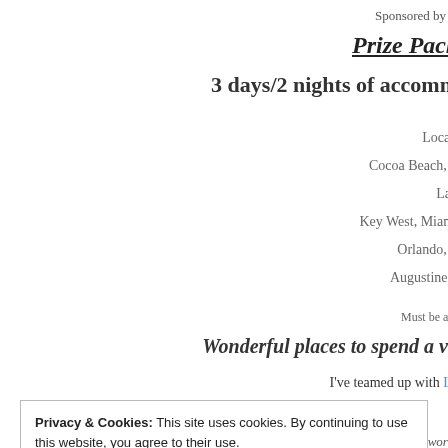Sponsored by A
Prize Pack
3 days/2 nights of accomm
Locati
Cocoa Beach, S
Lau
Key West, Miami
Orlando, P
Augustine o
Must be at l
Wonderful places to spend a va
I've teamed up with La
Privacy & Cookies: This site uses cookies. By continuing to use this website, you agree to their use. To find out more, including how to control cookies, see here: Cookie Policy
3 days and 2 nights worth